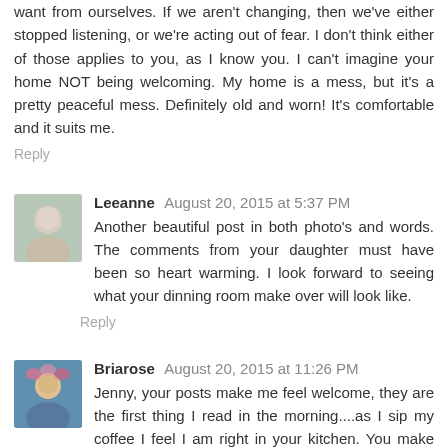want from ourselves. If we aren't changing, then we've either stopped listening, or we're acting out of fear. I don't think either of those applies to you, as I know you. I can't imagine your home NOT being welcoming. My home is a mess, but it's a pretty peaceful mess. Definitely old and worn! It's comfortable and it suits me.
Reply
Leeanne  August 20, 2015 at 5:37 PM
Another beautiful post in both photo's and words. The comments from your daughter must have been so heart warming. I look forward to seeing what your dinning room make over will look like.
Reply
Briarose  August 20, 2015 at 11:26 PM
Jenny, your posts make me feel welcome, they are the first thing I read in the morning....as I sip my coffee I feel I am right in your kitchen. You make me realize it's not what I